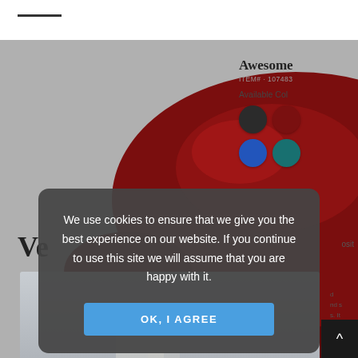[Figure (screenshot): Screenshot of a furniture website showing a dark red leather recliner chair on a white/grey background. Top right panel shows product title 'Awesome', item number '107483', and color swatches (black, dark red, blue, teal). Bottom shows partial text 'Ve' and a living room scene.]
We use cookies to ensure that we give you the best experience on our website. If you continue to use this site we will assume that you are happy with it.
OK, I AGREE